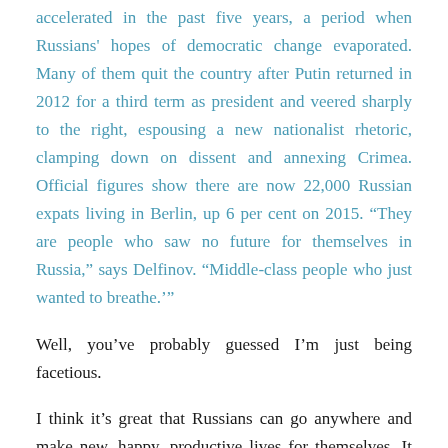accelerated in the past five years, a period when Russians' hopes of democratic change evaporated. Many of them quit the country after Putin returned in 2012 for a third term as president and veered sharply to the right, espousing a new nationalist rhetoric, clamping down on dissent and annexing Crimea. Official figures show there are now 22,000 Russian expats living in Berlin, up 6 per cent on 2015. “They are people who saw no future for themselves in Russia,” says Delfinov. “Middle-class people who just wanted to breathe.’”
Well, you’ve probably guessed I’m just being facetious.
I think it’s great that Russians can go anywhere and make new, happy, productive lives for themselves. It should be that way for everyone, of course. No one is illegal, and all that.